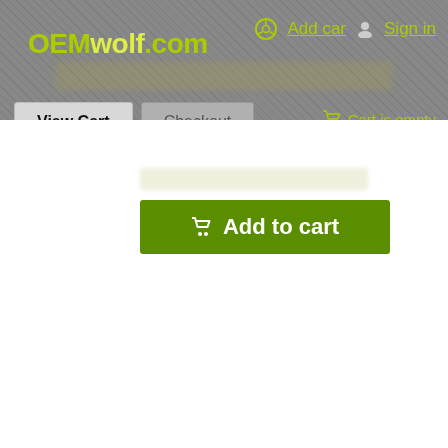[Figure (screenshot): OEMwolf.com website header with logo, Add car and Sign in navigation links, View Cart and Checkout buttons, Cart is empty indicator, and an Add to cart green button.]
OEMwolf.com
Add car  Sign in
View Cart  Checkout  Cart is empty
Add to cart